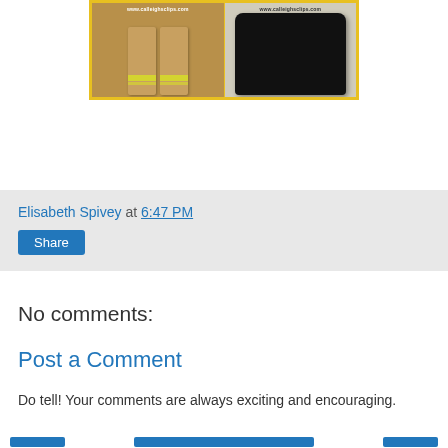[Figure (photo): Two-panel collage image with yellow border. Left panel shows tan/beige crochet boot-style items on a wooden surface with watermark www.calleighsclips.com. Right panel shows dark/black fluffy crochet item on light background with watermark www.calleighsclips.com.]
Elisabeth Spivey at 6:47 PM
Share
No comments:
Post a Comment
Do tell! Your comments are always exciting and encouraging.